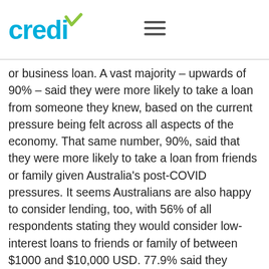credi [logo] [hamburger menu]
or business loan. A vast majority – upwards of 90% – said they were more likely to take a loan from someone they knew, based on the current pressure being felt across all aspects of the economy. That same number, 90%, said that they were more likely to take a loan from friends or family given Australia's post-COVID pressures. It seems Australians are also happy to consider lending, too, with 56% of all respondents stating they would consider low-interest loans to friends or family of between $1000 and $10,000 USD. 77.9% said they would charge interest; among those who would, 36.1% of them would charge less than 3%, and 29.5% said they would charge between 3-5% interest, considerably lower than traditional lenders. Responses illustrate that borrowing – and lending – between friends and family for small business and entrepreneurial start-ups was becoming an avenue that an increasing number of SMEs are exploring.